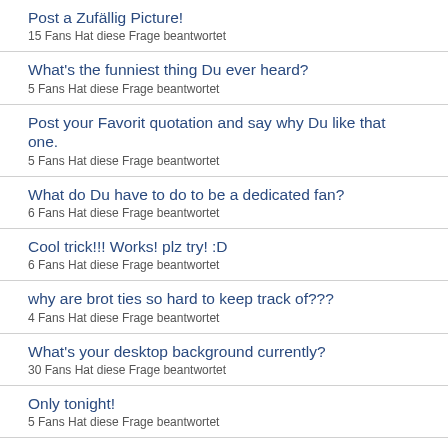Post a Zufällig Picture!
15 Fans Hat diese Frage beantwortet
What's the funniest thing Du ever heard?
5 Fans Hat diese Frage beantwortet
Post your Favorit quotation and say why Du like that one.
5 Fans Hat diese Frage beantwortet
What do Du have to do to be a dedicated fan?
6 Fans Hat diese Frage beantwortet
Cool trick!!! Works! plz try! :D
6 Fans Hat diese Frage beantwortet
why are brot ties so hard to keep track of???
4 Fans Hat diese Frage beantwortet
What's your desktop background currently?
30 Fans Hat diese Frage beantwortet
Only tonight!
5 Fans Hat diese Frage beantwortet
Can someone please tell me why everyone loves jersey shore??
20 Fans Hat diese Frage beantwortet
Do Du all like Coke?